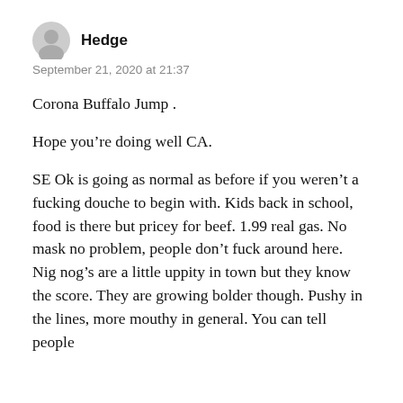Hedge
September 21, 2020 at 21:37
Corona Buffalo Jump .
Hope you’re doing well CA.
SE Ok is going as normal as before if you weren’t a fucking douche to begin with. Kids back in school, food is there but pricey for beef. 1.99 real gas. No mask no problem, people don’t fuck around here. Nig nog’s are a little uppity in town but they know the score. They are growing bolder though. Pushy in the lines, more mouthy in general. You can tell people